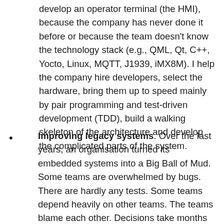develop an operator terminal (the HMI), because the company has never done it before or because the team doesn't know the technology stack (e.g., QML, Qt, C++, Yocto, Linux, MQTT, J1939, iMX8M). I help the company hire developers, select the hardware, bring them up to speed mainly by pair programming and test-driven development (TDD), build a walking skeleton of the architecture and develop the complicated parts of the system.
Improving legacy systems. Over the last years, an organisation turned its embedded systems into a Big Ball of Mud. Some teams are overwhelmed by bugs. There are hardly any tests. Some teams depend heavily on other teams. The teams blame each other. Decisions take months and end in poor compromises. After a thorough diagnosis of the situation, I'd most likely recommend a different team structure and the introduction of continuous delivery (CD) practices with a special focus on test-driven